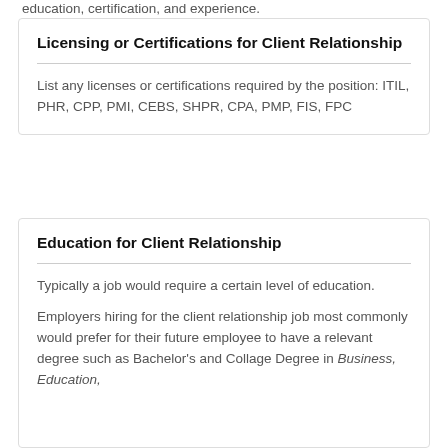education, certification, and experience.
Licensing or Certifications for Client Relationship
List any licenses or certifications required by the position: ITIL, PHR, CPP, PMI, CEBS, SHPR, CPA, PMP, FIS, FPC
Education for Client Relationship
Typically a job would require a certain level of education.
Employers hiring for the client relationship job most commonly would prefer for their future employee to have a relevant degree such as Bachelor's and Collage Degree in Business, Education,